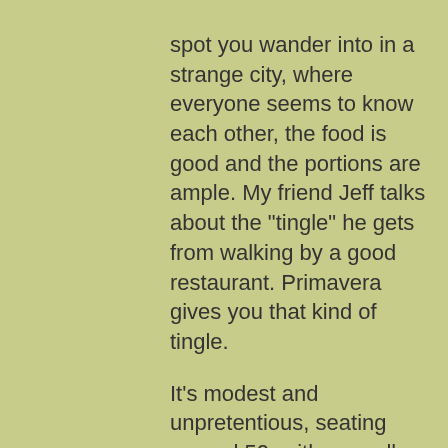spot you wander into in a strange city, where everyone seems to know each other, the food is good and the portions are ample. My friend Jeff talks about the "tingle" he gets from walking by a good restaurant. Primavera gives you that kind of tingle.

It's modest and unpretentious, seating around 50, with a small bar and part of the kitchen jutting into the dining room. On a Tuesday night the place is only half-full; many of the people there seem to know each other. At the bar, two men conduct a long discussion about cooking meat: "If you do that, you've just ruined $30 worth of steak," one says, to which the other offers a mumbled reply.